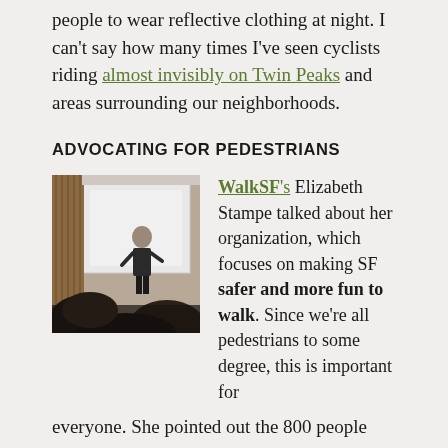people to wear reflective clothing at night. I can't say how many times I've seen cyclists riding almost invisibly on Twin Peaks and areas surrounding our neighborhoods.
ADVOCATING FOR PEDESTRIANS
[Figure (photo): Photo of a person presenting at the front of a room with a projection screen, audience visible in the foreground.]
WalkSF's Elizabeth Stampe talked about her organization, which focuses on making SF safer and more fun to walk. Since we're all pedestrians to some degree, this is important for everyone. She pointed out the 800 people were hit by cars each year in SF — and thought this was possibly an understated number.